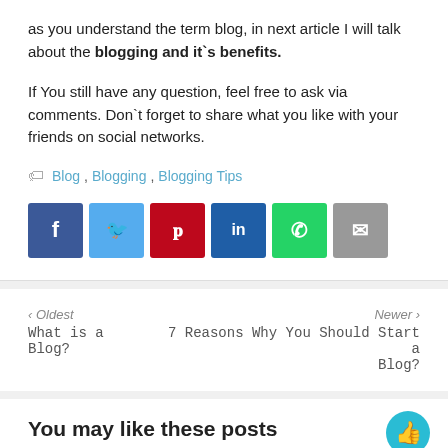as you understand the term blog, in next article I will talk about the blogging and it`s benefits.
If You still have any question, feel free to ask via comments. Don`t forget to share what you like with your friends on social networks.
Blog, Blogging, Blogging Tips
[Figure (infographic): Social sharing buttons: Facebook, Twitter, Pinterest, LinkedIn, WhatsApp, Email]
‹ Oldest
What is a Blog?
Newer ›
7 Reasons Why You Should Start a Blog?
You may like these posts
[Figure (infographic): Bottom social sharing buttons row: Facebook, Twitter, Pinterest, LinkedIn, gray, blue]